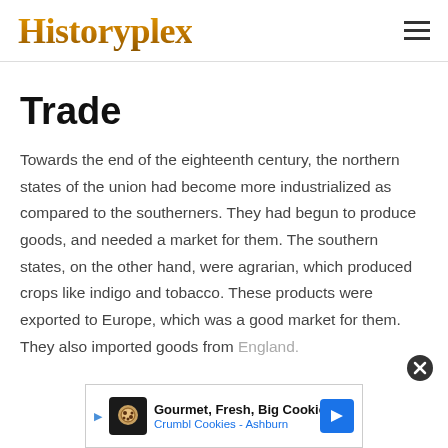Historyplex
Trade
Towards the end of the eighteenth century, the northern states of the union had become more industrialized as compared to the southerners. They had begun to produce goods, and needed a market for them. The southern states, on the other hand, were agrarian, which produced crops like indigo and tobacco. These products were exported to Europe, which was a good market for them. They also imported goods from England.
[Figure (other): Advertisement banner for Crumbl Cookies - Ashburn with cookie icon and navigation arrow]